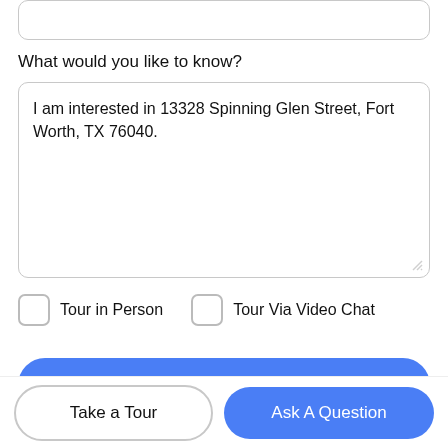What would you like to know?
I am interested in 13328 Spinning Glen Street, Fort Worth, TX 76040.
Tour in Person
Tour Via Video Chat
Submit
Disclaimer: By entering your information and submitting this form, you agree to our Terms of Use and Privacy Policy and that you may be contacted by
Take a Tour
Ask A Question